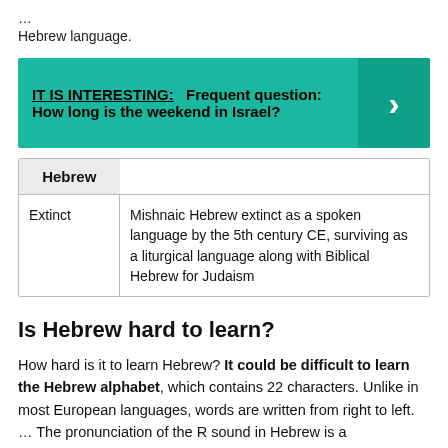...
Hebrew language.
IT IS INTERESTING: Frequent question: How long is the weekend in Israel?
| Hebrew |
| --- |
| Extinct | Mishnaic Hebrew extinct as a spoken language by the 5th century CE, surviving as a liturgical language along with Biblical Hebrew for Judaism |
Is Hebrew hard to learn?
How hard is it to learn Hebrew? It could be difficult to learn the Hebrew alphabet, which contains 22 characters. Unlike in most European languages, words are written from right to left. … The pronunciation of the R sound in Hebrew is a